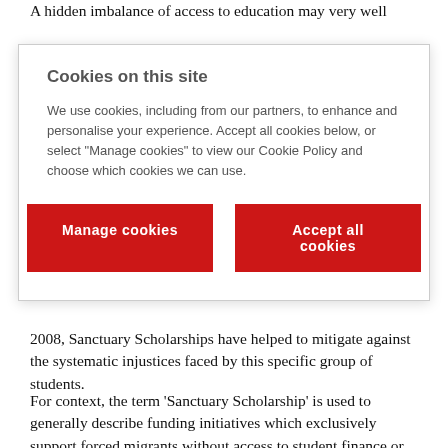A hidden imbalance of access to education may very well
Cookies on this site

We use cookies, including from our partners, to enhance and personalise your experience. Accept all cookies below, or select “Manage cookies” to view our Cookie Policy and choose which cookies we can use.
Manage cookies | Accept all cookies
2008, Sanctuary Scholarships have helped to mitigate against the systematic injustices faced by this specific group of students.
For context, the term ‘Sanctuary Scholarship’ is used to generally describe funding initiatives which exclusively support forced migrants without access to student finance or other private funding, to study at a UK university. As it stands, students from forced migrant backgrounds that are born, or